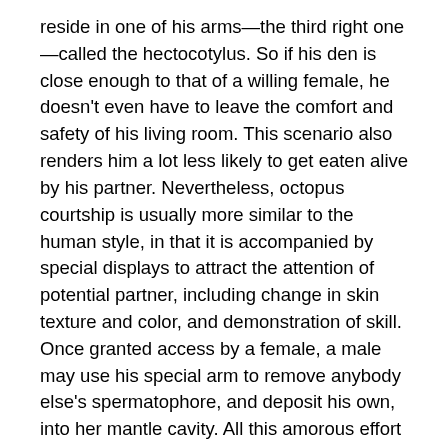reside in one of his arms—the third right one—called the hectocotylus. So if his den is close enough to that of a willing female, he doesn't even have to leave the comfort and safety of his living room. This scenario also renders him a lot less likely to get eaten alive by his partner. Nevertheless, octopus courtship is usually more similar to the human style, in that it is accompanied by special displays to attract the attention of potential partner, including change in skin texture and color, and demonstration of skill. Once granted access by a female, a male may use his special arm to remove anybody else's spermatophore, and deposit his own, into her mantle cavity. All this amorous effort exhausts him, and he dies within a few weeks or months of breeding, whether or not his mate is particularly ravenous or irritable.

About 40 days after being impregnated, the female hangs